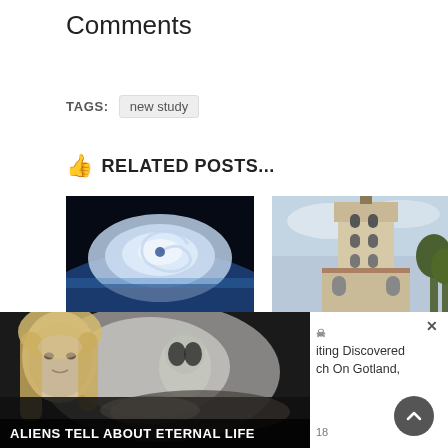Comments
TAGS: new study
👍 RELATED POSTS...
[Figure (photo): Satellite view of a hurricane over Earth]
Worrying: Scientists figured out how to create a Cat 5...
[Figure (photo): Old church tower with Romanesque architecture on Gotland]
Symbolic Meaning Behind Unknown 800-Year-Old Painting Discovered in Church On Gotland,
[Figure (photo): Bottom banner overlay: person with alien figure, text ALIENS TELL ABOUT ETERNAL LIFE]